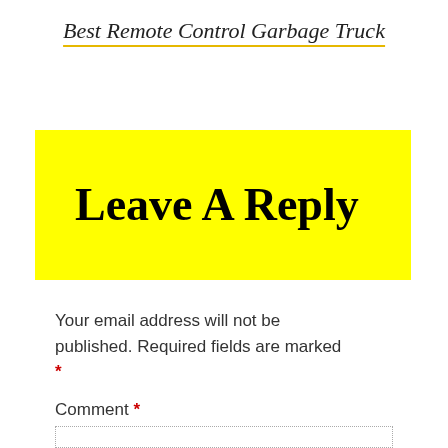Best Remote Control Garbage Truck
Leave A Reply
Your email address will not be published. Required fields are marked *
Comment *